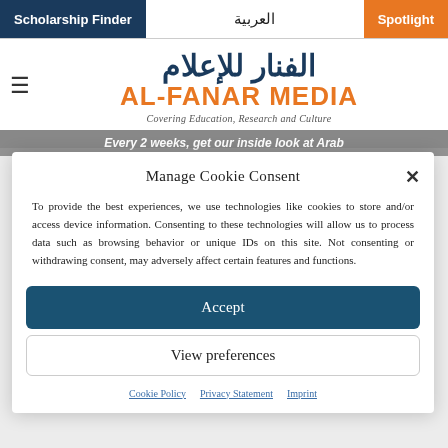Scholarship Finder | العربية | Spotlight
الفنار للإعلام
AL-FANAR MEDIA
Covering Education, Research and Culture
Every 2 weeks, get our inside look at Arab
Manage Cookie Consent
To provide the best experiences, we use technologies like cookies to store and/or access device information. Consenting to these technologies will allow us to process data such as browsing behavior or unique IDs on this site. Not consenting or withdrawing consent, may adversely affect certain features and functions.
Accept
View preferences
Cookie Policy | Privacy Statement | Imprint